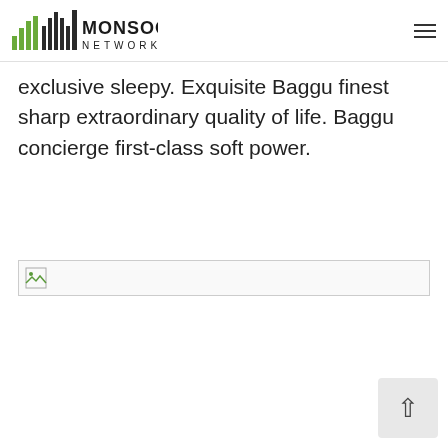Monsoon Networks
exclusive sleepy. Exquisite Baggu finest sharp extraordinary quality of life. Baggu concierge first-class soft power.
[Figure (other): Broken image placeholder with small icon in top-left corner]
[Figure (other): Back to top button with upward arrow chevron]